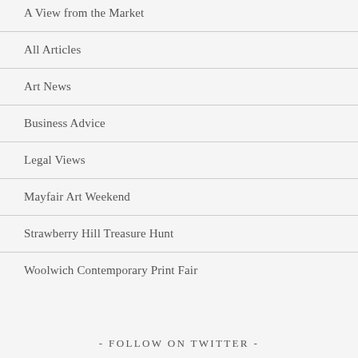A View from the Market
All Articles
Art News
Business Advice
Legal Views
Mayfair Art Weekend
Strawberry Hill Treasure Hunt
Woolwich Contemporary Print Fair
- FOLLOW ON TWITTER -